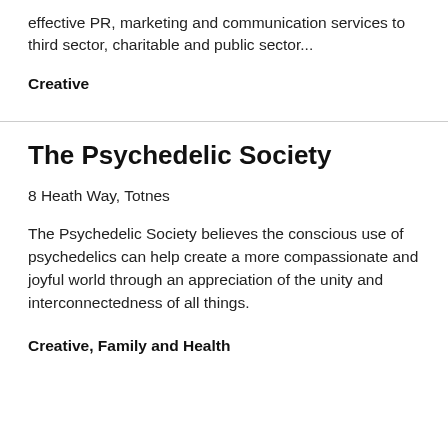effective PR, marketing and communication services to third sector, charitable and public sector...
Creative
The Psychedelic Society
8 Heath Way, Totnes
The Psychedelic Society believes the conscious use of psychedelics can help create a more compassionate and joyful world through an appreciation of the unity and interconnectedness of all things.
Creative, Family and Health